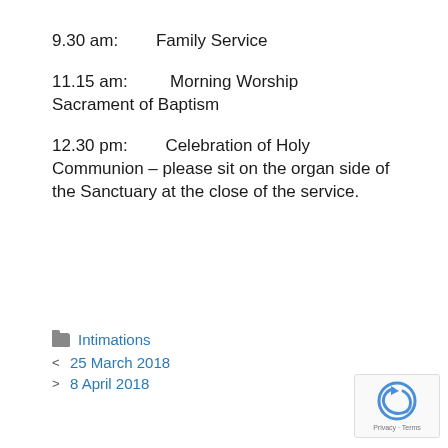9.30 am:        Family Service
11.15 am:         Morning Worship Sacrament of Baptism
12.30 pm:         Celebration of Holy Communion – please sit on the organ side of the Sanctuary at the close of the service.
Intimations
25 March 2018
8 April 2018